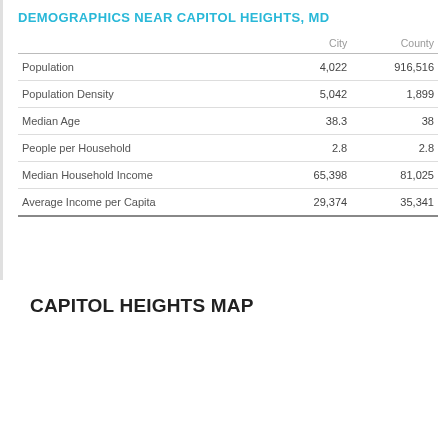DEMOGRAPHICS NEAR CAPITOL HEIGHTS, MD
|  | City | County |
| --- | --- | --- |
| Population | 4,022 | 916,516 |
| Population Density | 5,042 | 1,899 |
| Median Age | 38.3 | 38 |
| People per Household | 2.8 | 2.8 |
| Median Household Income | 65,398 | 81,025 |
| Average Income per Capita | 29,374 | 35,341 |
CAPITOL HEIGHTS MAP